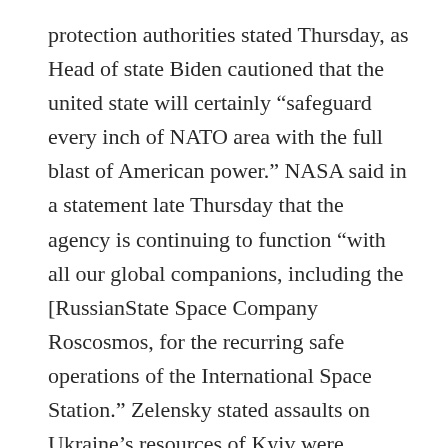protection authorities stated Thursday, as Head of state Biden cautioned that the united state will certainly “safeguard every inch of NATO area with the full blast of American power.” NASA said in a statement late Thursday that the agency is continuing to function “with all our global companions, including the [RussianState Space Company Roscosmos, for the recurring safe operations of the International Space Station.” Zelensky stated assaults on Ukraine’s resources of Kyiv were continuing regardless of Western permissions, as well as he urged the U.S. as well as Europe to promptly exclude Russia from the speedy international financial system, together with other actions.